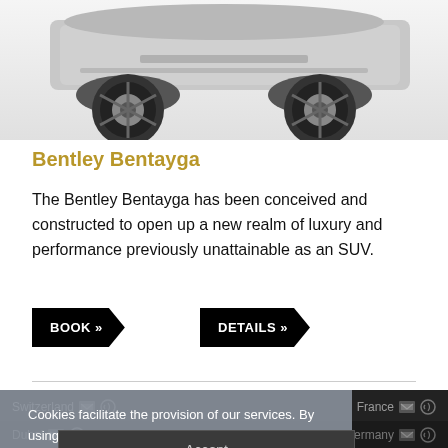[Figure (photo): Bottom portion of a Bentley Bentayga SUV photographed from the front-low angle, showing wheels and lower body on white background]
Bentley Bentayga
The Bentley Bentayga has been conceived and constructed to open up a new realm of luxury and performance previously unattainable as an SUV.
BOOK »
DETAILS »
Cookies facilitate the provision of our services. By using our services, you agree that we may use cookies. Read more
Switzerland  France  Dubai  Germany  Accept